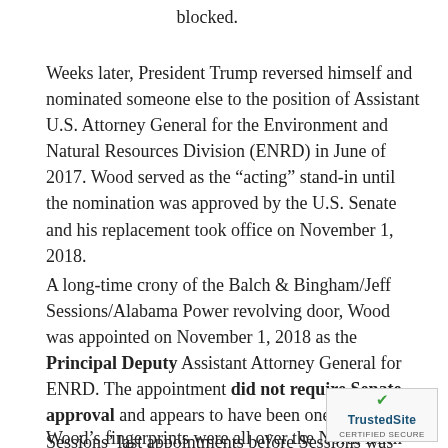blocked.
Weeks later, President Trump reversed himself and nominated someone else to the position of Assistant U.S. Attorney General for the Environment and Natural Resources Division (ENRD) in June of 2017. Wood served as the “acting” stand-in until the nomination was approved by the U.S. Senate and his replacement took office on November 1, 2018.
A long-time crony of the Balch & Bingham/Jeff Sessions/Alabama Power revolving door, Wood was appointed on November 1, 2018 as the Principal Deputy Assistant Attorney General for ENRD. The appointment did not require Senate approval and appears to have been one of Jeff Sessions’ last appointments before Sessions was fired by the President.
Wood’s fingerprints were all over the North Birm…
[Figure (logo): TrustedSite Certified Secure badge with green checkmark]